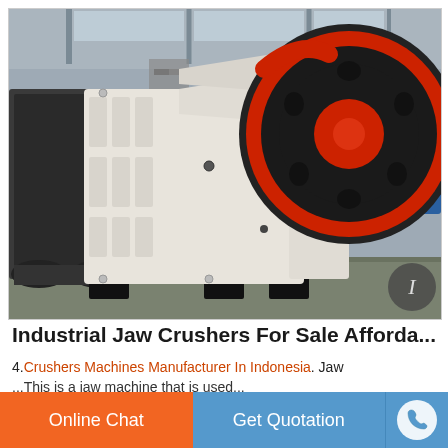[Figure (photo): Industrial jaw crusher machine photographed in a factory/warehouse. The machine is large, predominantly white/cream colored with a prominent red and black flywheel on the right side. It sits on black base supports. Background shows an industrial building interior with 'ing Mining Machinery' text visible on a blue sign. A circular scroll/cursor icon appears in the lower right corner of the photo.]
Industrial Jaw Crushers For Sale Afforda...
4.Crushers Machines Manufacturer In Indonesia. Jaw
...This is a jaw machine that is used...
Online Chat   Get Quotation